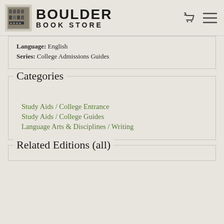[Figure (logo): Boulder Book Store logo with store image and bold text BOULDER BOOK STORE]
Language: English
Series: College Admissions Guides
Categories
Study Aids / College Entrance
Study Aids / College Guides
Language Arts & Disciplines / Writing
Related Editions (all)